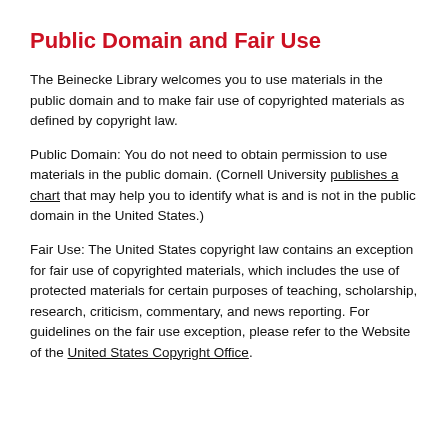Public Domain and Fair Use
The Beinecke Library welcomes you to use materials in the public domain and to make fair use of copyrighted materials as defined by copyright law.
Public Domain: You do not need to obtain permission to use materials in the public domain. (Cornell University publishes a chart that may help you to identify what is and is not in the public domain in the United States.)
Fair Use: The United States copyright law contains an exception for fair use of copyrighted materials, which includes the use of protected materials for certain purposes of teaching, scholarship, research, criticism, commentary, and news reporting. For guidelines on the fair use exception, please refer to the Website of the United States Copyright Office.